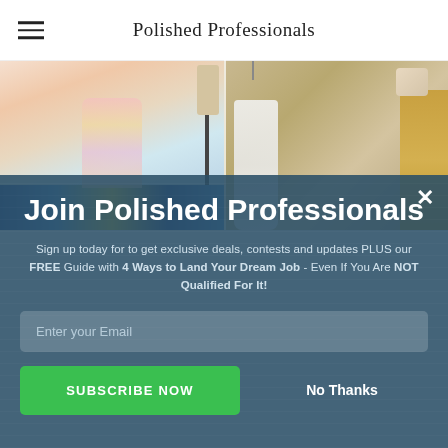Polished Professionals
[Figure (photo): Two side-by-side fashion photos: left shows a person in a floral dress standing on a blue and yellow patterned rug near a bed; right shows a white dress hanging near a golden door in a hotel-like setting.]
Join Polished Professionals
Sign up today for to get exclusive deals, contests and updates PLUS our FREE Guide with 4 Ways to Land Your Dream Job - Even If You Are NOT Qualified For It!
Enter your Email
SUBSCRIBE NOW
No Thanks